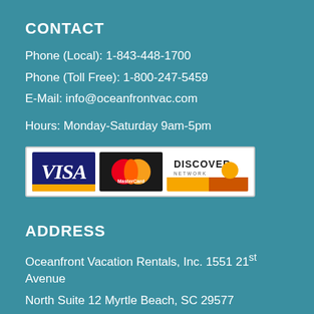CONTACT
Phone (Local): 1-843-448-1700
Phone (Toll Free): 1-800-247-5459
E-Mail: info@oceanfrontvac.com
Hours: Monday-Saturday 9am-5pm
[Figure (illustration): Payment method logos: Visa, MasterCard, Discover Network]
ADDRESS
Oceanfront Vacation Rentals, Inc. 1551 21st Avenue North Suite 12 Myrtle Beach, SC 29577
CONTACT US FOR OUR UPCOMING DEALS!